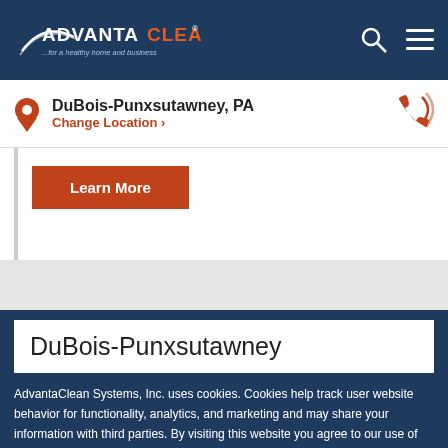AdvantaClean ...for a healthy home and business
DuBois-Punxsutawney, PA
Change Location
[Figure (other): Orange phone icon]
Learn More
DuBois-Punxsutawney
AdvantaClean Systems, Inc. uses cookies. Cookies help track user website behavior for functionality, analytics, and marketing and may share your information with third parties. By visiting this website you agree to our use of cookies. For more information see our Privacy Policy.
Accept